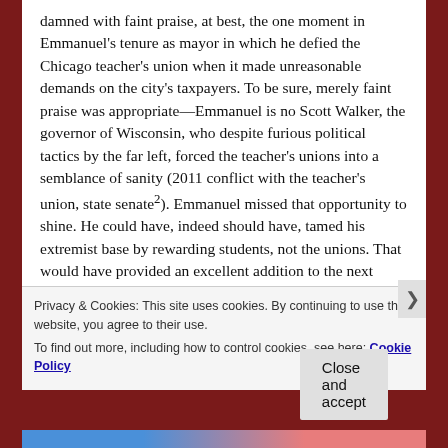damned with faint praise, at best, the one moment in Emmanuel's tenure as mayor in which he defied the Chicago teacher's union when it made unreasonable demands on the city's taxpayers. To be sure, merely faint praise was appropriate—Emmanuel is no Scott Walker, the governor of Wisconsin, who despite furious political tactics by the far left, forced the teacher's unions into a semblance of sanity (2011 conflict with the teacher's union, state senate²). Emmanuel missed that opportunity to shine. He could have, indeed should have, tamed his extremist base by rewarding students, not the unions. That would have provided an excellent addition to the next printing of John E...
Privacy & Cookies: This site uses cookies. By continuing to use this website, you agree to their use.
To find out more, including how to control cookies, see here: Cookie Policy
Close and accept